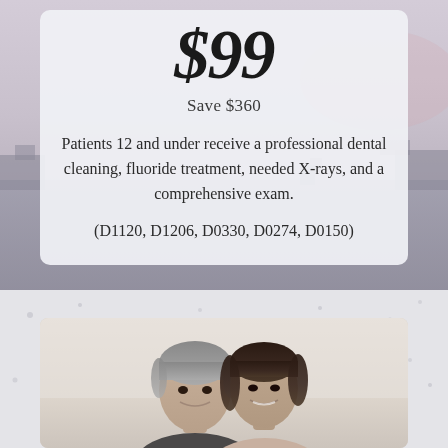$99
Save $360
Patients 12 and under receive a professional dental cleaning, fluoride treatment, needed X-rays, and a comprehensive exam.
(D1120, D1206, D0330, D0274, D0150)
[Figure (photo): A smiling couple — an older man with gray-streaked hair and a woman with dark hair — photographed from the shoulders up against a light background.]